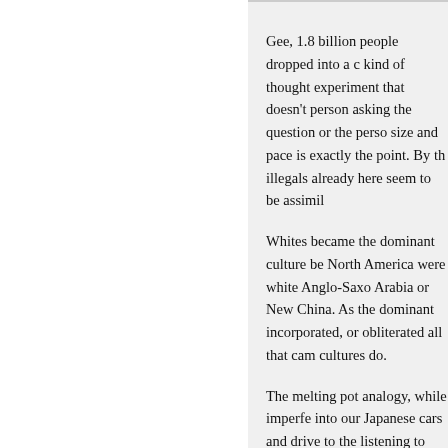Gee, 1.8 billion people dropped into a c... kind of thought experiment that doesn't... person asking the question or the perso... size and pace is exactly the point. By th... illegals already here seem to be assimil...

Whites became the dominant culture be... North America were white Anglo-Saxo... Arabia or New China. As the dominant... incorporated, or obliterated all that cam... cultures do.

The melting pot analogy, while imperfe... into our Japanese cars and drive to the... listening to jazz and reggae on the way... intermarry. And yet, it's still America a... Not many racially "pure" Aryans--and t...